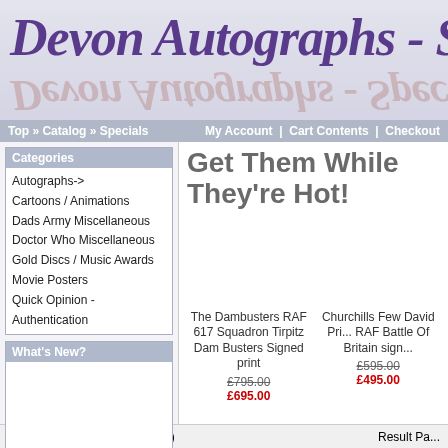Devon Autographs - Specials
Top » Catalog » Specials   My Account | Cart Contents | Checkout
Categories
Autographs->
Cartoons / Animations
Dads Army Miscellaneous
Doctor Who Miscellaneous
Gold Discs / Music Awards
Movie Posters
Quick Opinion - Authentication
What's New?
Get Them While They're Hot!
The Dambusters RAF 617 Squadron Tirpitz Dam Busters Signed print £795.00 £695.00
Churchills Few David Pri... RAF Battle Of Britain sign... £595.00 £495.00
Displaying 1 to 2 (of 2 specials)   Result Pa...